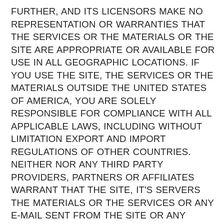FURTHER, AND ITS LICENSORS MAKE NO REPRESENTATION OR WARRANTIES THAT THE SERVICES OR THE MATERIALS OR THE SITE ARE APPROPRIATE OR AVAILABLE FOR USE IN ALL GEOGRAPHIC LOCATIONS. IF YOU USE THE SITE, THE SERVICES OR THE MATERIALS OUTSIDE THE UNITED STATES OF AMERICA, YOU ARE SOLELY RESPONSIBLE FOR COMPLIANCE WITH ALL APPLICABLE LAWS, INCLUDING WITHOUT LIMITATION EXPORT AND IMPORT REGULATIONS OF OTHER COUNTRIES. NEITHER NOR ANY THIRD PARTY PROVIDERS, PARTNERS OR AFFILIATES WARRANT THAT THE SITE, IT'S SERVERS THE MATERIALS OR THE SERVICES OR ANY E-MAIL SENT FROM THE SITE OR ANY THIRD PARTY PROVIDERS, PARTNERS OR AFFILIATES ARE FREE OF VIRUSES OR OTHER HARMFUL COMPONENTS.